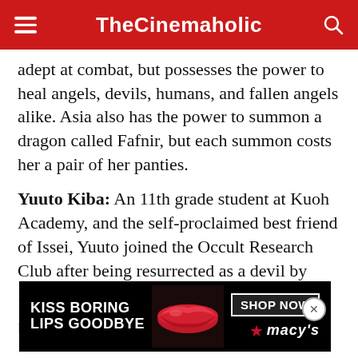TheCinemaholic
adept at combat, but possesses the power to heal angels, devils, humans, and fallen angels alike. Asia also has the power to summon a dragon called Fafnir, but each summon costs her a pair of her panties.
Yuuto Kiba: An 11th grade student at Kuoh Academy, and the self-proclaimed best friend of Issei, Yuuto joined the Occult Research Club after being resurrected as a devil by
Rias. A victim and the sole survivor of a blood... Sword , Yuuto is extremely loyal to Rias for
[Figure (screenshot): Macy's advertisement: KISS BORING LIPS GOODBYE with SHOP NOW button and macy's logo, featuring a close-up of red lips]